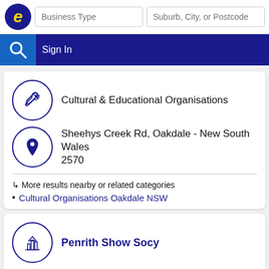Business Type | Suburb, City, or Postcode | Sign In
Cultural & Educational Organisations
Sheehys Creek Rd, Oakdale - New South Wales 2570
↳ More results nearby or related categories
Cultural Organisations Oakdale NSW
Penrith Show Socy
Penrith